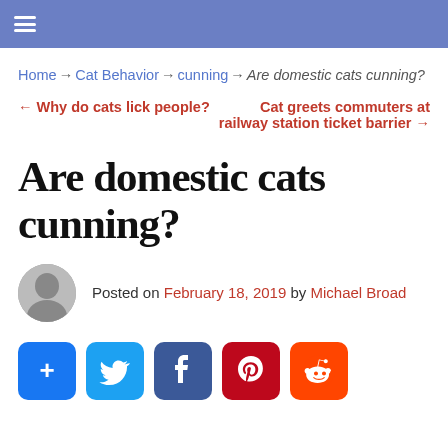≡ (navigation menu)
Home → Cat Behavior → cunning → Are domestic cats cunning?
← Why do cats lick people?   Cat greets commuters at railway station ticket barrier →
Are domestic cats cunning?
Posted on February 18, 2019 by Michael Broad
[Figure (infographic): Social share buttons: Share (+), Twitter, Facebook, Pinterest, Reddit]